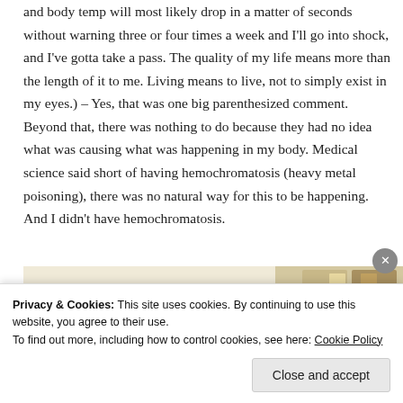and body temp will most likely drop in a matter of seconds without warning three or four times a week and I'll go into shock, and I've gotta take a pass. The quality of my life means more than the length of it to me. Living means to live, not to simply exist in my eyes.) – Yes, that was one big parenthesized comment. Beyond that, there was nothing to do because they had no idea what was causing what was happening in my body. Medical science said short of having hemochromatosis (heavy metal poisoning), there was no natural way for this to be happening. And I didn't have hemochromatosis.
[Figure (photo): Partial view of a food-related image or website banner with a circular logo on the left and food/recipe images on the right against a light background]
Privacy & Cookies: This site uses cookies. By continuing to use this website, you agree to their use.
To find out more, including how to control cookies, see here: Cookie Policy